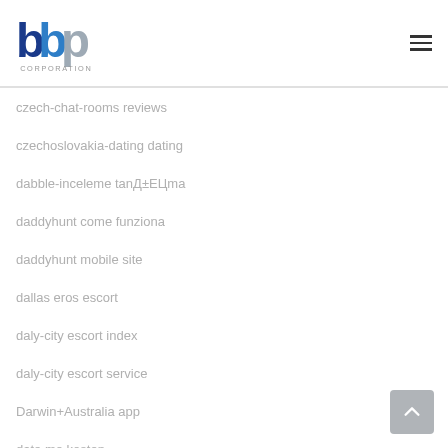[Figure (logo): bbp Corporation logo with blue and gray lettering]
czech-chat-rooms reviews
czechoslovakia-dating dating
dabble-inceleme tanД±ЕЦma
daddyhunt come funziona
daddyhunt mobile site
dallas eros escort
daly-city escort index
daly-city escort service
Darwin+Australia app
date me kosten